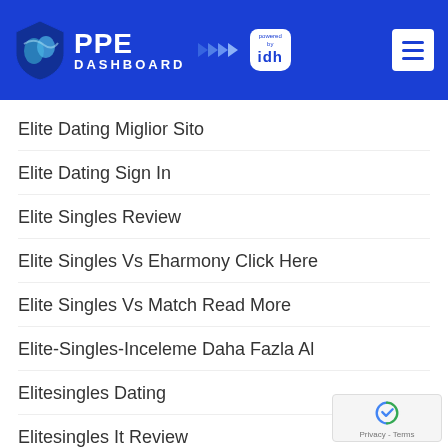PPE DASHBOARD powered by idh
Elite Dating Miglior Sito
Elite Dating Sign In
Elite Singles Review
Elite Singles Vs Eharmony Click Here
Elite Singles Vs Match Read More
Elite-Singles-Inceleme Daha Fazla Al
Elitesingles Dating
Elitesingles It Review
Elitesingles-Inceleme Reviews